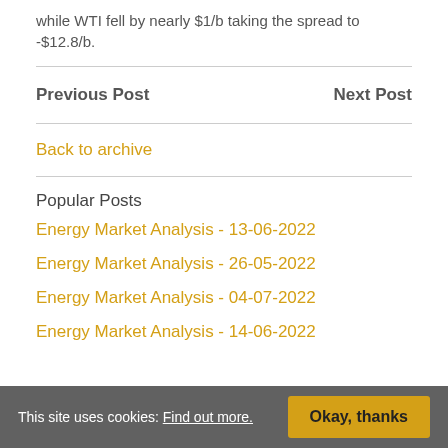while WTI fell by nearly $1/b taking the spread to -$12.8/b.
Previous Post
Next Post
Back to archive
Popular Posts
Energy Market Analysis - 13-06-2022
Energy Market Analysis - 26-05-2022
Energy Market Analysis - 04-07-2022
Energy Market Analysis - 14-06-2022
This site uses cookies: Find out more.  Okay, thanks